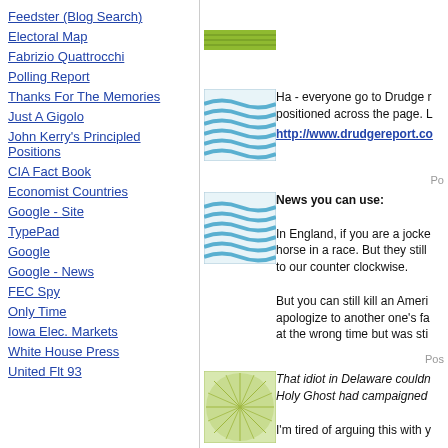Feedster (Blog Search)
Electoral Map
Fabrizio Quattrocchi
Polling Report
Thanks For The Memories
Just A Gigolo
John Kerry's Principled Positions
CIA Fact Book
Economist Countries
Google - Site
TypePad
Google
Google - News
FEC Spy
Only Time
Iowa Elec. Markets
White House Press
United Flt 93
[Figure (illustration): Green textured thumbnail image at top]
Ha - everyone go to Drudge r... positioned across the page. L...
http://www.drudgereport.co...
Po...
[Figure (illustration): Blue wavy pattern thumbnail image]
News you can use:
In England, if you are a jocke... horse in a race. But they still ... to our counter clockwise.
But you can still kill an Americ... apologize to another one's fa... at the wrong time but was sti...
Pos...
[Figure (illustration): Green radial pattern thumbnail image]
That idiot in Delaware couldn'... Holy Ghost had campaigned ...
I'm tired of arguing this with y...